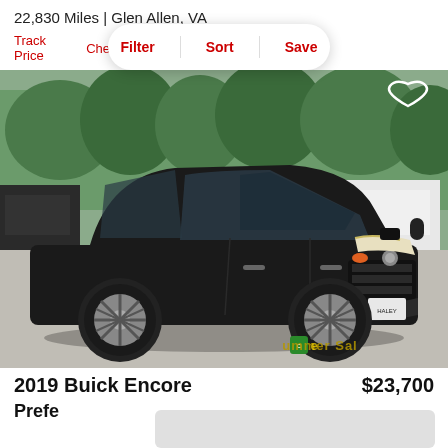22,830 Miles | Glen Allen, VA
Track Price  Che...  Filter  Sort  Save
[Figure (photo): Black 2019 Buick Encore SUV parked in a dealership lot, front three-quarter view, with trees and other vehicles in the background. A Summer Sale watermark appears at the bottom. A heart/favorite icon is in the top-right corner.]
2019 Buick Encore
$23,700
Pre...